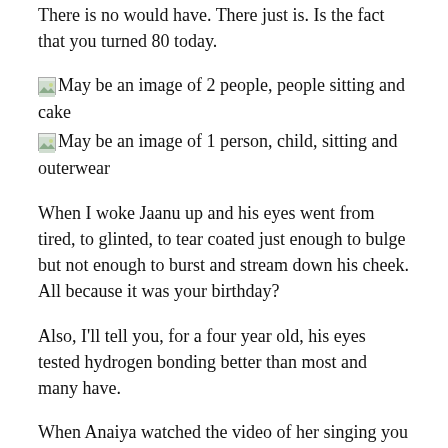There is no would have. There just is. Is the fact that you turned 80 today.
[Figure (photo): May be an image of 2 people, people sitting and cake]
[Figure (photo): May be an image of 1 person, child, sitting and outerwear]
When I woke Jaanu up and his eyes went from tired, to glinted, to tear coated just enough to bulge but not enough to burst and stream down his cheek. All because it was your birthday?
Also, I'll tell you, for a four year old, his eyes tested hydrogen bonding better than most and many have.
When Anaiya watched the video of her singing you Happy Birthday — and holy hell, Daddy, am I happy we have that video, I think for Mo...